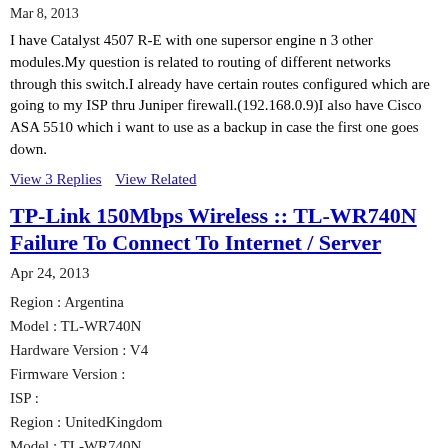Mar 8, 2013
I have Catalyst 4507 R-E with one supersor engine n 3 other modules.My question is related to routing of different networks through this switch.I already have certain routes configured which are going to my ISP thru Juniper firewall.(192.168.0.9)I also have Cisco ASA 5510 which i want to use as a backup in case the first one goes down.
View 3 Replies   View Related
TP-Link 150Mbps Wireless :: TL-WR740N Failure To Connect To Internet / Server
Apr 24, 2013
Region : Argentina
Model : TL-WR740N
Hardware Version : V4
Firmware Version :
ISP :
Region : UnitedKingdom
Model : TL-WR740N